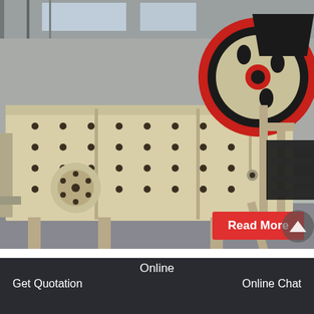[Figure (photo): A large industrial jaw crusher / aggregate crusher plant machine in a factory warehouse. The machine is painted cream/beige with a large red and black flywheel visible at the top right. The machine body has numerous bolt holes and sits on metal supports on a concrete factory floor. The ceiling shows industrial steel structure and skylights.]
Read More
construction aggregate crusher plant in
Online
Get Quotation    Online Chat